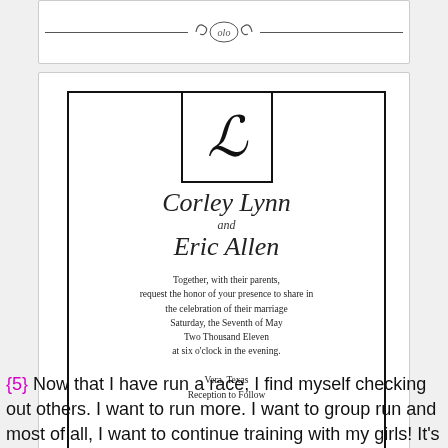[Figure (illustration): Partial top decorative card with ornamental divider line and oval badge with scrollwork design]
[Figure (illustration): Wedding invitation card with monogram box containing script letter L, names Corley Lynn and Eric Allen in script, invitation text, and location Vera, Texas / Reception to Follow]
{5} Now that I have run a race, I find myself checking out others. I want to run more. I want to group run and most of all, I want to continue training with my girls!  It's so nice to have that time to ourselves -- I know i feel super productive.